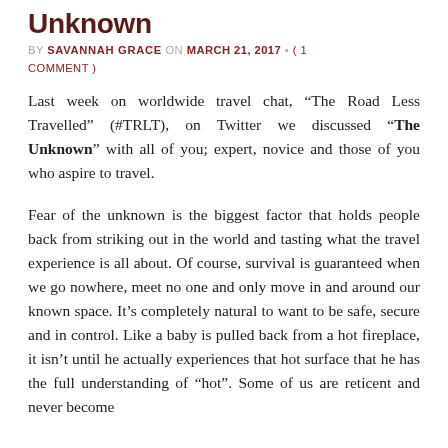Unknown
BY SAVANNAH GRACE ON MARCH 21, 2017 • ( 1 COMMENT )
Last week on worldwide travel chat, “The Road Less Travelled” (#TRLT), on Twitter we discussed “The Unknown” with all of you; expert, novice and those of you who aspire to travel.
Fear of the unknown is the biggest factor that holds people back from striking out in the world and tasting what the travel experience is all about. Of course, survival is guaranteed when we go nowhere, meet no one and only move in and around our known space. It’s completely natural to want to be safe, secure and in control. Like a baby is pulled back from a hot fireplace, it isn’t until he actually experiences that hot surface that he has the full understanding of “hot”. Some of us are reticent and never become...